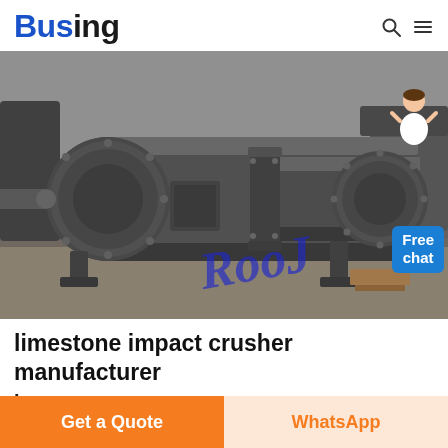Busing
[Figure (photo): Industrial ball mill / cylindrical grinding machine photographed in a factory setting. Large dark grey cylindrical drum with flanged couplings visible. A watermark 'ROO' in blue cursive is overlaid on the lower right of the image. A 'Free chat' badge with a customer service icon is in the upper right corner of the image.]
limestone impact crusher manufacturer
Get a Quote
WhatsApp